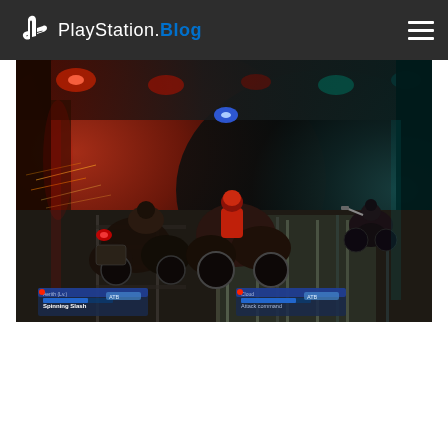PlayStation.Blog
[Figure (screenshot): Final Fantasy VII Remake motorcycle chase scene in a tunnel. Multiple motorcycles racing through a dark industrial tunnel with red and teal lighting. Game UI visible at bottom showing character status bars for characters including Cloud. The scene shows an action-packed highway battle sequence.]